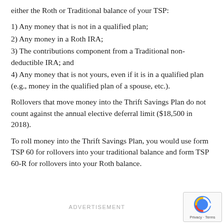either the Roth or Traditional balance of your TSP:
1) Any money that is not in a qualified plan;
2) Any money in a Roth IRA;
3) The contributions component from a Traditional non-deductible IRA; and
4) Any money that is not yours, even if it is in a qualified plan (e.g., money in the qualified plan of a spouse, etc.).
Rollovers that move money into the Thrift Savings Plan do not count against the annual elective deferral limit ($18,500 in 2018).
To roll money into the Thrift Savings Plan, you would use form TSP 60 for rollovers into your traditional balance and form TSP 60-R for rollovers into your Roth balance.
ADVERTISEMENT